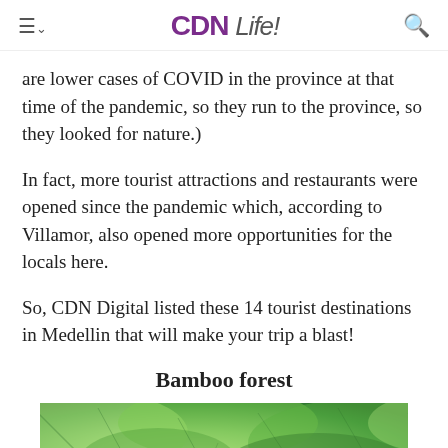CDN Life!
are lower cases of COVID in the province at that time of the pandemic, so they run to the province, so they looked for nature.)
In fact, more tourist attractions and restaurants were opened since the pandemic which, according to Villamor, also opened more opportunities for the locals here.
So, CDN Digital listed these 14 tourist destinations in Medellin that will make your trip a blast!
Bamboo forest
[Figure (photo): Lush green bamboo forest canopy viewed from below, dense green leaves filling the frame.]